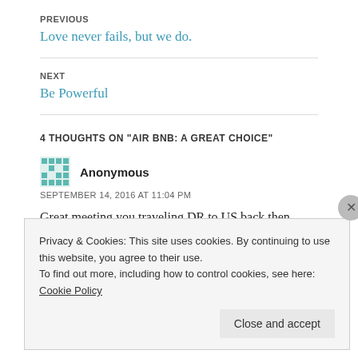PREVIOUS
Love never fails, but we do.
NEXT
Be Powerful
4 THOUGHTS ON "AIR BNB: A GREAT CHOICE"
Anonymous
SEPTEMBER 14, 2016 AT 11:04 PM
Great meeting you traveling DR to US back then. Love your zest
Privacy & Cookies: This site uses cookies. By continuing to use this website, you agree to their use.
To find out more, including how to control cookies, see here: Cookie Policy
Close and accept